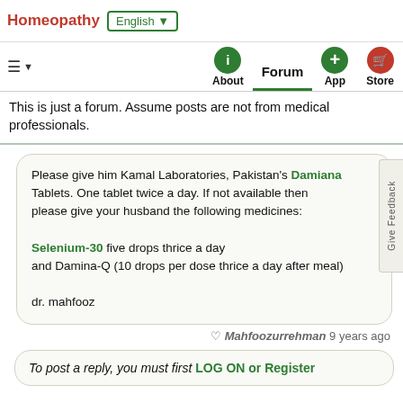Homeopathy  English ▼
≡ ▼  About  Forum  App  Store
This is just a forum. Assume posts are not from medical professionals.
Please give him Kamal Laboratories, Pakistan's Damiana Tablets. One tablet twice a day. If not available then please give your husband the following medicines:

Selenium-30 five drops thrice a day and Damina-Q (10 drops per dose thrice a day after meal)

dr. mahfooz
♡ Mahfoozurrehman 9 years ago
To post a reply, you must first LOG ON or Register